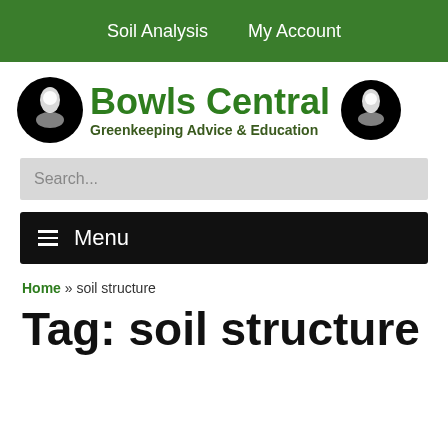Soil Analysis   My Account
[Figure (logo): Bowls Central logo with two circular black and white icons flanking the text 'Bowls Central' in green bold font with tagline 'Greenkeeping Advice & Education']
Search...
≡ Menu
Home » soil structure
Tag: soil structure